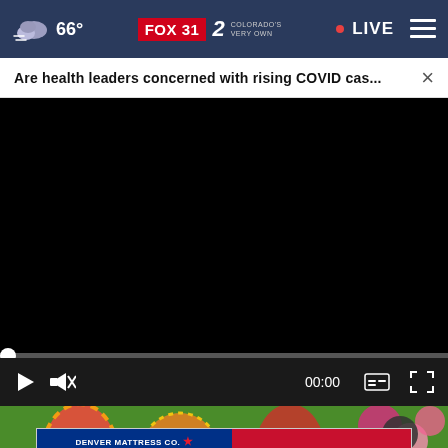66° FOX 31 2 COLORADO'S VERY OWN • LIVE
Are health leaders concerned with rising COVID cas... ×
[Figure (screenshot): Black video player area (video not loaded)]
[Figure (photo): Colorful floral/Easter egg photo strip at bottom]
[Figure (screenshot): Denver Mattress Co. advertisement banner: 4 DAY SUPER LABOR DAY SALE - BUY MORE • SAVE MORE!]